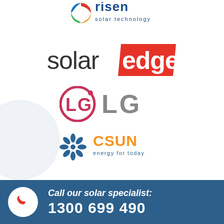[Figure (logo): Risen Solar Technology logo - globe icon with colorful segments and text 'risen solar technology' in blue]
[Figure (logo): SolarEdge logo - 'solar' in dark/black text and 'edge' in white text on red parallelogram background]
[Figure (logo): LG logo - pink/red LG circle emblem and 'LG' in grey text]
[Figure (logo): CSUN logo - blue snowflake/sun icon and 'CSUN energy for today' in blue and orange]
Call our solar specialist: 1300 699 490